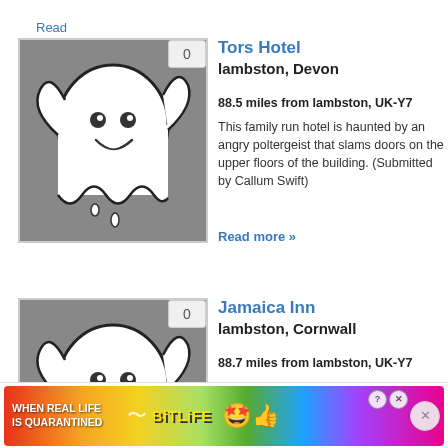Read more »
[Figure (illustration): Ghost cartoon icon on grey background with vote badge showing 0]
Tors Hotel
lambston, Devon
88.5 miles from lambston, UK-Y7
This family run hotel is haunted by an angry poltergeist that slams doors on the upper floors of the building. (Submitted by Callum Swift)
Read more »
[Figure (illustration): Ghost cartoon icon on grey background with vote badge showing 0]
Jamaica Inn
lambston, Cornwall
88.7 miles from lambston, UK-Y7
A man who was murdered here is thought to still remain by the bar; some people have seen him sitting outside on one of the walls while others have heard his footsteps. Other
[Figure (screenshot): BitLife advertisement banner at bottom of page]